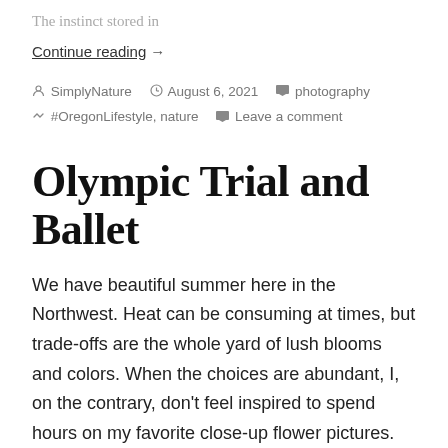The instinct stored in
Continue reading  →
SimplyNature   August 6, 2021   photography   #OregonLifestyle, nature   Leave a comment
Olympic Trial and Ballet
We have beautiful summer here in the Northwest. Heat can be consuming at times, but trade-offs are the whole yard of lush blooms and colors. When the choices are abundant, I, on the contrary, don't feel inspired to spend hours on my favorite close-up flower pictures. Reality is truthful but not all